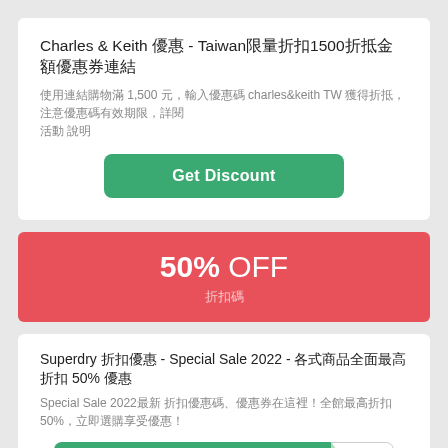Charles & Keith 優惠 - Taiwan限量折扣1500折抵金額優惠券連結
使用連結購物滿 1,500 元，輸入優惠碼 charles&keith TW 獲得折抵，注意優惠碼有效期限，詳閱 活動 說明
Get Discount
50% OFF
折扣碼
Superdry 折扣優惠 - Special Sale 2022 - 各式商品全面最高折扣 50% 優惠
Special Sale 2022最新 折扣優惠碼、優惠券在這裡！全館最高折扣 50%，立即選購享受優惠！
Show Coupon Code
vated